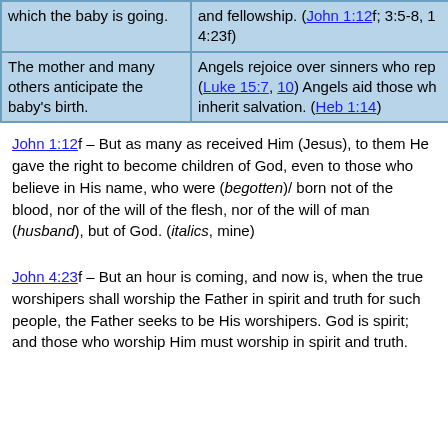| which the baby is going. | and fellowship. (John 1:12f; 3:5-8, 1 4:23f) |
| The mother and many others anticipate the baby's birth. | Angels rejoice over sinners who rep (Luke 15:7, 10) Angels aid those wh inherit salvation. (Heb 1:14) |
John 1:12f – But as many as received Him (Jesus), to them He gave the right to become children of God, even to those who believe in His name, who were (begotten)/ born not of the blood, nor of the will of the flesh, nor of the will of man (husband), but of God. (italics, mine)
John 4:23f – But an hour is coming, and now is, when the true worshipers shall worship the Father in spirit and truth for such people, the Father seeks to be His worshipers. God is spirit; and those who worship Him must worship in spirit and truth.